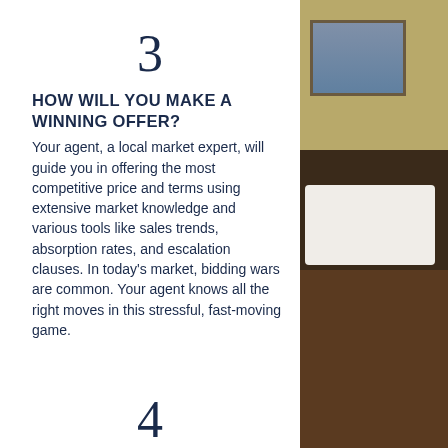3
HOW WILL YOU MAKE A WINNING OFFER?
Your agent, a local market expert, will guide you in offering the most competitive price and terms using extensive market knowledge and various tools like sales trends, absorption rates, and escalation clauses. In today's market, bidding wars are common. Your agent knows all the right moves in this stressful, fast-moving game.
[Figure (photo): Bedroom photo showing a bed with white pillows against a dark headboard, framed picture on a yellow-green wall, dark wood floor.]
4